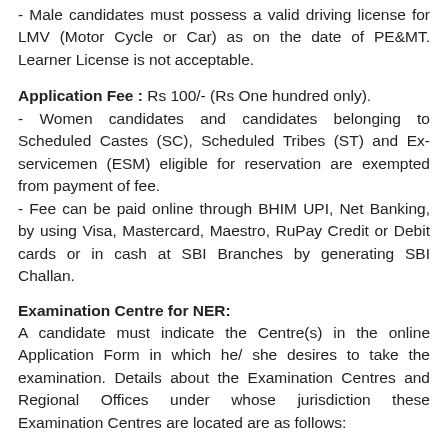- Male candidates must possess a valid driving license for LMV (Motor Cycle or Car) as on the date of PE&MT. Learner License is not acceptable.
Application Fee : Rs 100/- (Rs One hundred only).
- Women candidates and candidates belonging to Scheduled Castes (SC), Scheduled Tribes (ST) and Ex-servicemen (ESM) eligible for reservation are exempted from payment of fee.
- Fee can be paid online through BHIM UPI, Net Banking, by using Visa, Mastercard, Maestro, RuPay Credit or Debit cards or in cash at SBI Branches by generating SBI Challan.
Examination Centre for NER:
A candidate must indicate the Centre(s) in the online Application Form in which he/ she desires to take the examination. Details about the Examination Centres and Regional Offices under whose jurisdiction these Examination Centres are located are as follows:
Itanagar (5001),
Dibrugarh (5102),